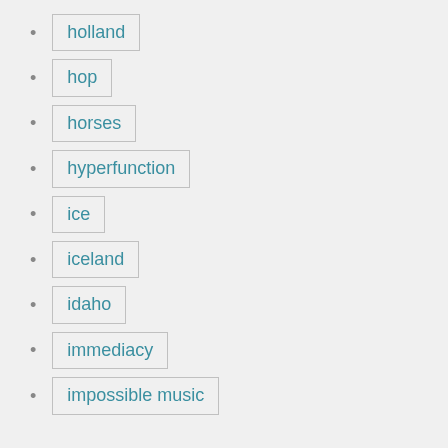holland
hop
horses
hyperfunction
ice
iceland
idaho
immediacy
impossible music